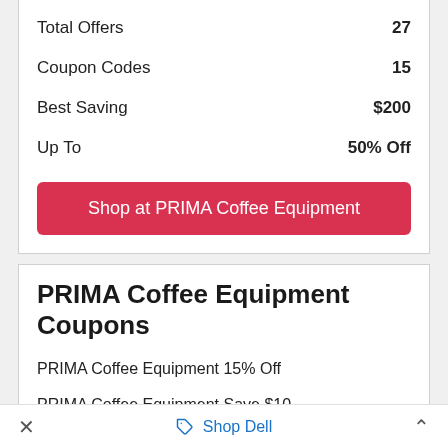| Total Offers | 27 |
| Coupon Codes | 15 |
| Best Saving | $200 |
| Up To | 50% Off |
Shop at PRIMA Coffee Equipment
PRIMA Coffee Equipment Coupons
PRIMA Coffee Equipment 15% Off
PRIMA Coffee Equipment Save $10
PRIMA Coffee Equipment 50% Off
PRIMA Coffee Equipment 10% Off
× Shop Dell ^